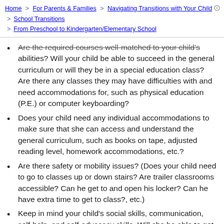Home > For Parents & Families > Navigating Transitions with Your Child > School Transitions > From Preschool to Kindergarten/Elementary School
Are the required courses well-matched to your child's abilities? Will your child be able to succeed in the general curriculum or will they be in a special education class? Are there any classes they may have difficulties with and need accommodations for, such as physical education (P.E.) or computer keyboarding?
Does your child need any individual accommodations to make sure that she can access and understand the general curriculum, such as books on tape, adjusted reading level, homework accommodations, etc.?
Are there safety or mobility issues? (Does your child need to go to classes up or down stairs? Are trailer classrooms accessible? Can he get to and open his locker? Can he have extra time to get to class?, etc.)
Keep in mind your child's social skills, communication, self-help, and self-advocacy skills. Will she be able to get her lunch in the cafeteria and sit with friends, or will she need help? Is bullying a worry, and how will it be